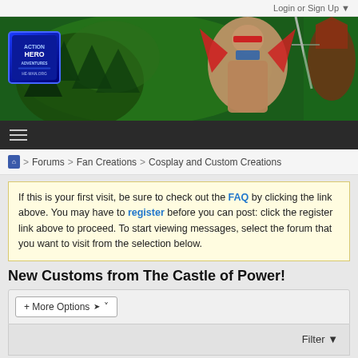Login or Sign Up ▼
[Figure (illustration): Comic book style banner showing muscular fantasy/action heroes including a warrior with red headband and cape against a green monster/creature background, with a logo in the top left corner]
≡ (hamburger menu navigation bar)
🏠 > Forums > Fan Creations > Cosplay and Custom Creations
If this is your first visit, be sure to check out the FAQ by clicking the link above. You may have to register before you can post: click the register link above to proceed. To start viewing messages, select the forum that you want to visit from the selection below.
New Customs from The Castle of Power!
+ More Options ▾
Filter ▼